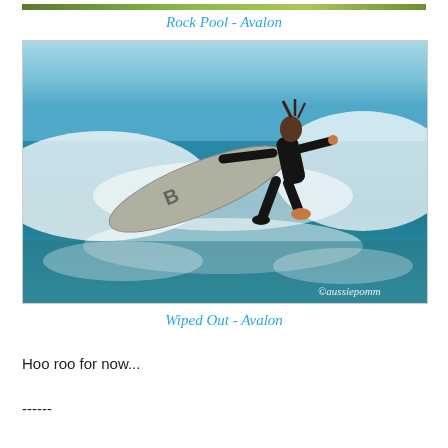[Figure (photo): Partial top edge of a photo showing green foliage with copyright watermark 'aussiepomm']
Rock Pool - Avalon
[Figure (photo): A surfer wearing a black wetsuit is wiped out mid-air above a wave at Avalon, with the surfboard visible and white foam below. Copyright watermark reads '©aussiepomm']
Wiped Out - Avalon
Hoo roo for now...
------